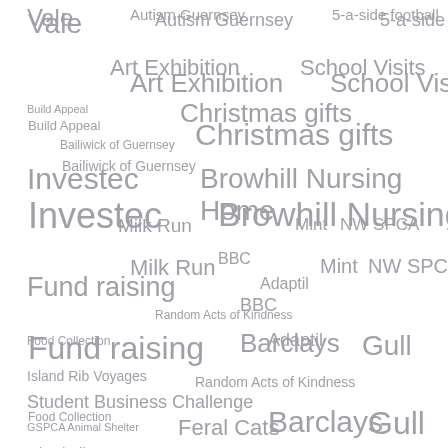[Figure (infographic): Word cloud with various tags and topics related to GSPCA and community events in Guernsey, displayed in different font sizes in gray color on white background. Terms include: Vale, Autism Guernsey, 5-a-side football, Art Exhibition, School Visits, Build Appeal, Christmas gifts, Bailiwick of Guernsey, Investec, Browhill Nursing Home, Milk Run, Mint, NW SPCA, BBC, Fund raising, Adaptil, Random Acts of Kindness, Food Collection, Barclays, Gull, Island Rib Voyages, Student Business Challenge, GSPCA Animal Shelter, Feral Cats, Halloween Tours, Polar Bear Swim, L'Eree, Buy a Brick, Bus Terminus, Gardening, Art in the Park, Bring Your Dog to Work Day, Christmas Opening Times, Cool pup]